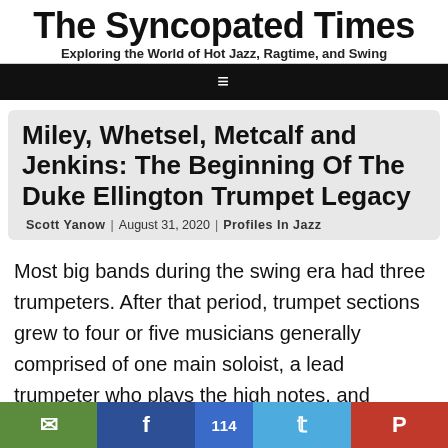The Syncopated Times
Exploring the World of Hot Jazz, Ragtime, and Swing
Miley, Whetsel, Metcalf and Jenkins: The Beginning Of The Duke Ellington Trumpet Legacy
Scott Yanow | August 31, 2020 | Profiles In Jazz
Most big bands during the swing era had three trumpeters. After that period, trumpet sections grew to four or five musicians generally comprised of one main soloist, a lead trumpeter who plays the high notes, and section players who are largely confined to the ensembles. In